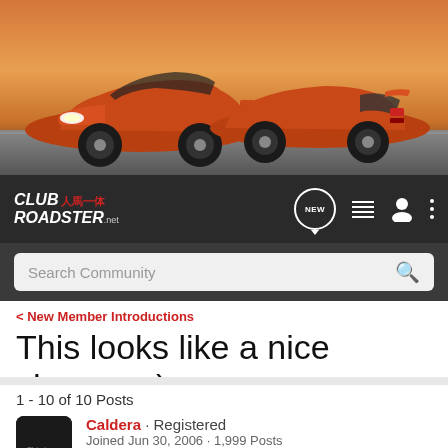[Figure (photo): Banner image showing two orange Mazda MX-5 Miata roadsters on a road against a sunset sky]
[Figure (logo): Club Roadster .net logo with Japanese characters, navigation icons including NEW chat bubble, list, user, and menu icons]
Search Community
< New Member Introductions
This looks like a nice change. :)
→ Jump to Latest
+ Follow
1 - 10 of 10 Posts
Caldera · Registered
Joined Jun 30, 2006 · 1,999 Posts